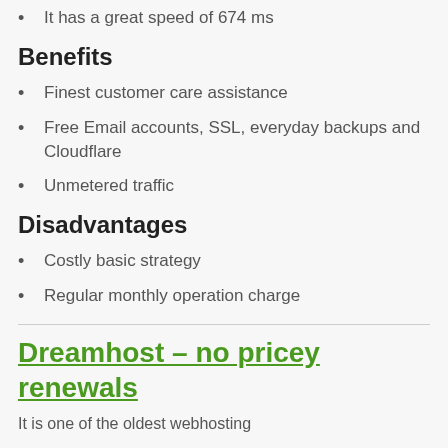It has a great speed of 674 ms
Benefits
Finest customer care assistance
Free Email accounts, SSL, everyday backups and Cloudflare
Unmetered traffic
Disadvantages
Costly basic strategy
Regular monthly operation charge
Dreamhost – no pricey renewals
It is one of the oldest webhosting